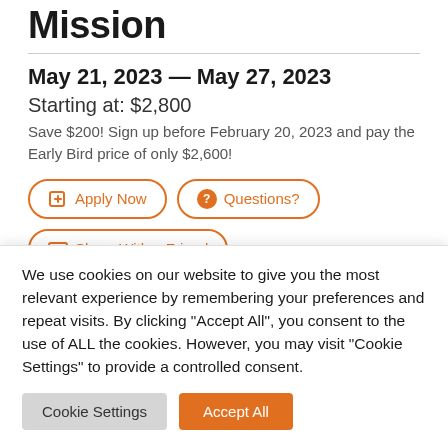Mission
May 21, 2023 — May 27, 2023
Starting at: $2,800
Save $200! Sign up before February 20, 2023 and pay the Early Bird price of only $2,600!
Apply Now
Questions?
Share With a Friend
We use cookies on our website to give you the most relevant experience by remembering your preferences and repeat visits. By clicking "Accept All", you consent to the use of ALL the cookies. However, you may visit "Cookie Settings" to provide a controlled consent.
Cookie Settings
Accept All